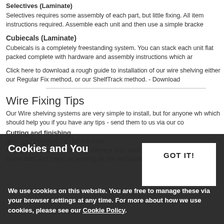Selectives (Laminate)
Selectives requires some assembly of each part, but little fixing. All item instructions required. Assemble each unit and then use a simple bracket
Cubiecals (Laminate)
Cubeicals is a completely freestanding system. You can stack each unit flat packed complete with hardware and assembly instructions which ar
Click here to download a rough guide to installation of our wire shelving either our Regular Fix method, or our ShelfTrack method. - Download
Wire Fixing Tips
Our Wire shelving systems are very simple to install, but for anyone wh which should help you if you have any tips - send them to us via our co
Cutting and finishing
gths, and therefore can be the excess depending size depending on the end point of your enclosure.
Cookies and You
We use cookies on this website. You are free to manage these via your browser settings at any time. For more about how we use cookies, please see our Cookie Policy.